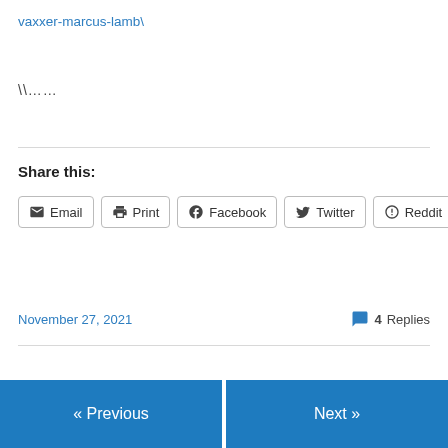vaxxer-marcus-lamb\
\\……
Share this:
Email | Print | Facebook | Twitter | Reddit
November 27, 2021
4 Replies
« Previous
Next »